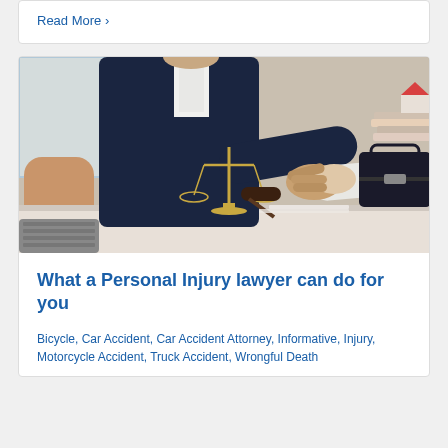Read More >
[Figure (photo): Two people shaking hands across a desk with scales of justice and a gavel in the foreground, and a briefcase with stacked papers in the background — a lawyer-client meeting scene.]
What a Personal Injury lawyer can do for you
Bicycle, Car Accident, Car Accident Attorney, Informative, Injury, Motorcycle Accident, Truck Accident, Wrongful Death